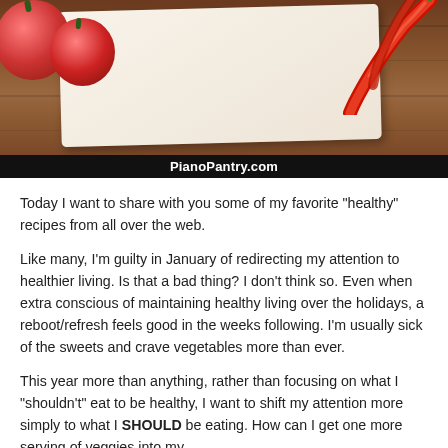[Figure (photo): Food blog header image showing red tomatoes on the left, a white/cream paper card in the center, red chili peppers on the right, all on a wooden cutting board background. Below the image is a black banner with white text reading 'PianoPantry.com']
Today I want to share with you some of my favorite “healthy” recipes from all over the web.
Like many, I’m guilty in January of redirecting my attention to healthier living. Is that a bad thing? I don’t think so. Even when extra conscious of maintaining healthy living over the holidays, a reboot/refresh feels good in the weeks following. I’m usually sick of the sweets and crave vegetables more than ever.
This year more than anything, rather than focusing on what I “shouldn’t” eat to be healthy, I want to shift my attention more simply to what I SHOULD be eating. How can I get one more serving of veggies into my